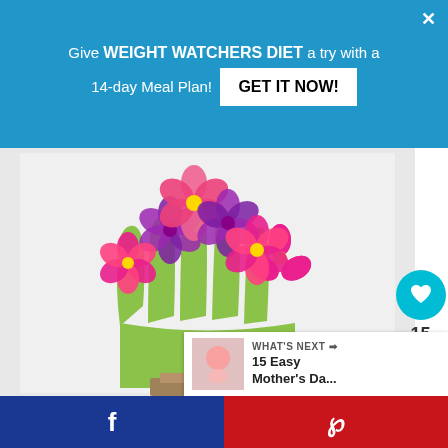Give WEIGHT WATCHERS DIET a try with a 14-day Meal Plan! GET IT NOW!
[Figure (photo): A craft project showing a hand cutout made from green paper with colorful paper flowers (pink and purple) placed on each finger, sitting in a small brown pot. The background is white/light gray.]
15
WHAT'S NEXT → 15 Easy Mother's Da...